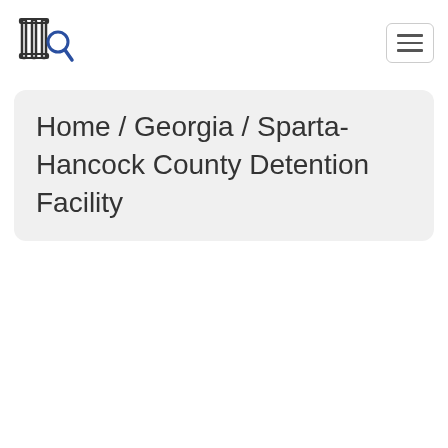[Figure (logo): Prison Policy Initiative logo: vertical bars like prison bars with a magnifying glass icon]
[Figure (other): Hamburger menu button with three horizontal lines inside a rounded rectangle border]
Home / Georgia / Sparta-Hancock County Detention Facility